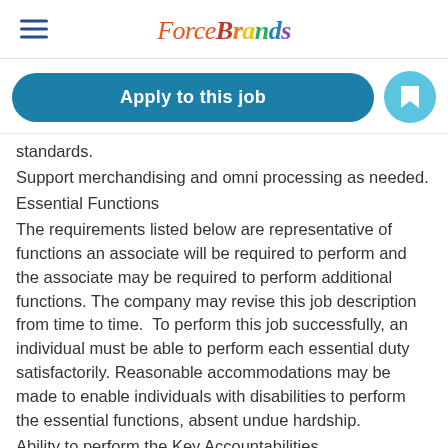ForceBrands
[Figure (logo): ForceBrands logo with hamburger menu icon on the left and colorful italic script logo text in the center]
Apply to this job
standards.
Support merchandising and omni processing as needed.
Essential Functions
The requirements listed below are representative of functions an associate will be required to perform and the associate may be required to perform additional functions. The company may revise this job description from time to time.  To perform this job successfully, an individual must be able to perform each essential duty satisfactorily. Reasonable accommodations may be made to enable individuals with disabilities to perform the essential functions, absent undue hardship.
Ability to perform the Key Accountabilities